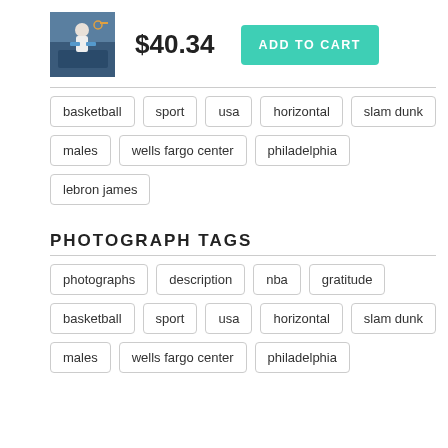[Figure (photo): Basketball player slam dunk photo thumbnail]
$40.34
ADD TO CART
basketball
sport
usa
horizontal
slam dunk
males
wells fargo center
philadelphia
lebron james
PHOTOGRAPH TAGS
photographs
description
nba
gratitude
basketball
sport
usa
horizontal
slam dunk
males
wells fargo center
philadelphia